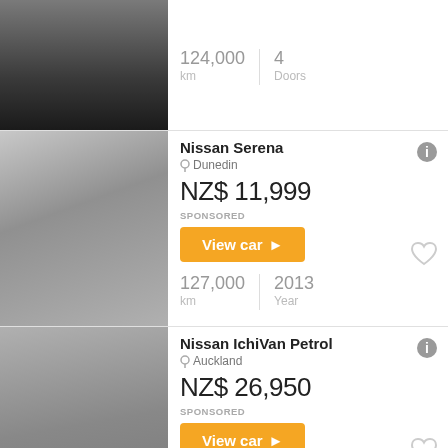[Figure (photo): Partial view of a dark/black car rear, top of listing]
124,000 km | 4 Doors
[Figure (photo): Silver Nissan Serena minivan, front-side view]
Nissan Serena
Dunedin
NZ$ 11,999
SPONSORED
View car >
127,000 km | 2013 Year
[Figure (photo): Silver Nissan IchiVan, front-side view]
Nissan IchiVan Petrol
Auckland
NZ$ 26,950
SPONSORED
View car >
103,800 km | 2016 Year
[Figure (photo): Partial view of white/silver car interior or exterior, bottom of page]
Nissan Petrol